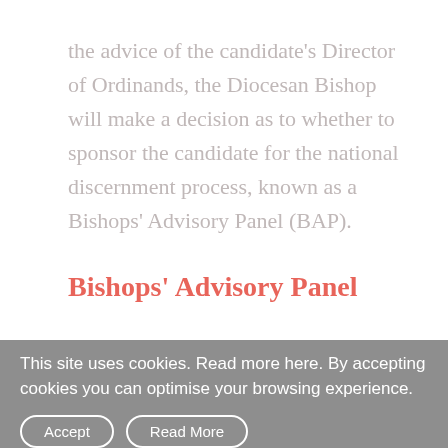the advice of the candidate's Director of Ordinands, the Diocesan Bishop will make a decision as to whether to sponsor the candidate for the national discernment process, known as a Bishops' Advisory Panel (BAP).
Bishops' Advisory Panel
From autumn 2021, a new national BAP process will be rolled out involving two stages: the first a half-day series of short interviews; the second a residential event,
This site uses cookies. Read more here. By accepting cookies you can optimise your browsing experience.
Accept
Read More